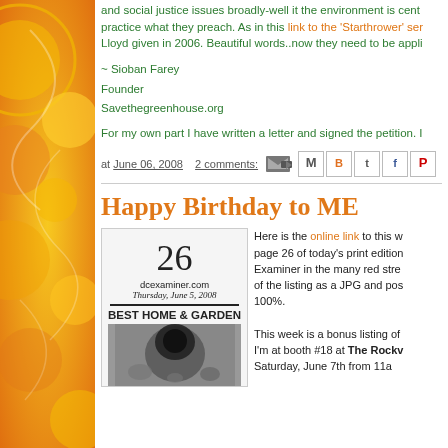[Figure (illustration): Decorative orange/yellow sidebar with swirling floral patterns]
and social justice issues broadly-well it the environment is cent... practice what they preach. As in this link to the 'Starthrower' ser... Lloyd given in 2006. Beautiful words..now they need to be appli...
~ Sioban Farey
Founder
Savethegreenhouse.org
For my own part I have written a letter and signed the petition. I...
at June 06, 2008   2 comments:
Happy Birthday to ME
[Figure (screenshot): Newspaper page showing number 26, dcexaminer.com, Thursday June 5, 2008, BEST HOME & GARDEN heading with a black and white photo of a garden pot]
Here is the online link to this w... page 26 of today's print edition... Examiner in the many red stre... of the listing as a JPG and pos... 100%.

This week is a bonus listing of... I'm at booth #18 at The Rockv... Saturday, June 7th from 11a...